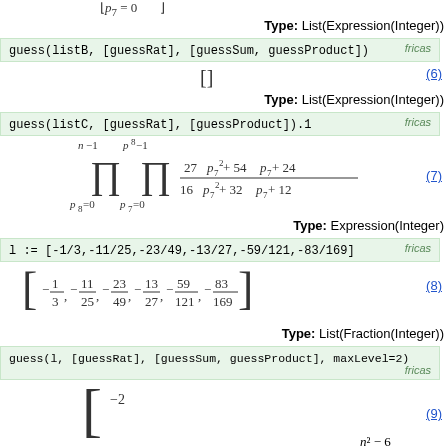Type: List(Expression(Integer))
guess(listB, [guessRat], [guessSum, guessProduct])  fricas
(6)
Type: List(Expression(Integer))
guess(listC, [guessRat], [guessProduct]).1  fricas
(7)
Type: Expression(Integer)
l := [-1/3,-11/25,-23/49,-13/27,-59/121,-83/169]  fricas
(8)
Type: List(Fraction(Integer))
guess(l, [guessRat], [guessSum, guessProduct], maxLevel=2)  fricas
(9)